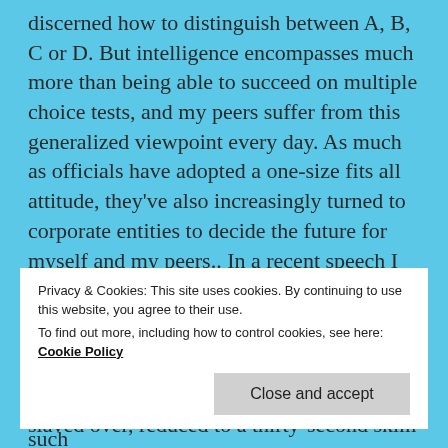discerned how to distinguish between A, B, C or D.  But intelligence encompasses much more than being able to succeed on multiple choice tests, and my peers suffer from this generalized viewpoint every day.  As much as officials have adopted a one-size fits all attitude, they've also increasingly turned to corporate entities to decide the future for myself and my peers.. In a recent speech I attended by education reformer Sir Ken Robinson, he brought up the fact that the testing industry has become larger than the NFL, with over sixteen billion dollars in revenue in a single year. Mega-businesses such
Privacy & Cookies: This site uses cookies. By continuing to use this website, you agree to their use.
To find out more, including how to control cookies, see here: Cookie Policy
slaved over, reduced to a thirty-second skim